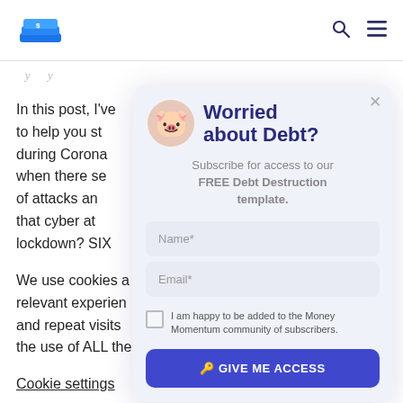[Logo] [Search icon] [Menu icon]
In this post, I've to help you st during Corona when there se of attacks an that cyber at lockdown? SIX
We use cookies a relevant experien and repeat visits the use of ALL the
Cookie settings
[Figure (other): Popup modal: Worried about Debt? Subscribe for access to our FREE Debt Destruction template. Name* field, Email* field, checkbox 'I am happy to be added to the Money Momentum community of subscribers.', GIVE ME ACCESS button.]